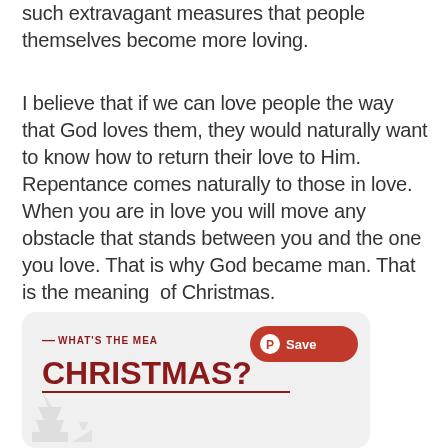such extravagant measures that people themselves become more loving.
I believe that if we can love people the way that God loves them, they would naturally want to know how to return their love to Him. Repentance comes naturally to those in love. When you are in love you will move any obstacle that stands between you and the one you love. That is why God became man. That is the meaning of Christmas.
[Figure (infographic): Card with 'WHAT'S THE MEA...' subtitle and 'CHRISTMAS?' title in dark red, with a red Pinterest Save button overlay]